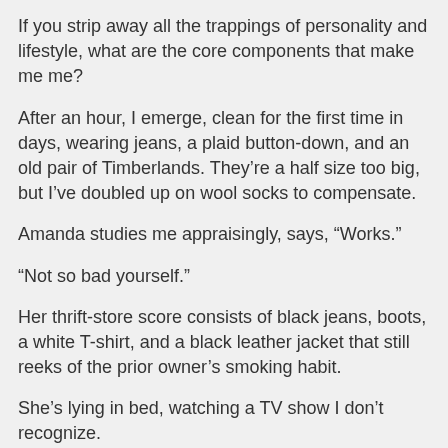If you strip away all the trappings of personality and lifestyle, what are the core components that make me me?
After an hour, I emerge, clean for the first time in days, wearing jeans, a plaid button-down, and an old pair of Timberlands. They're a half size too big, but I've doubled up on wool socks to compensate.
Amanda studies me appraisingly, says, “Works.”
“Not so bad yourself.”
Her thrift-store score consists of black jeans, boots, a white T-shirt, and a black leather jacket that still reeks of the prior owner’s smoking habit.
She’s lying in bed, watching a TV show I don’t recognize.
She looks up at me. “Know what I’m thinking?”
“What?”